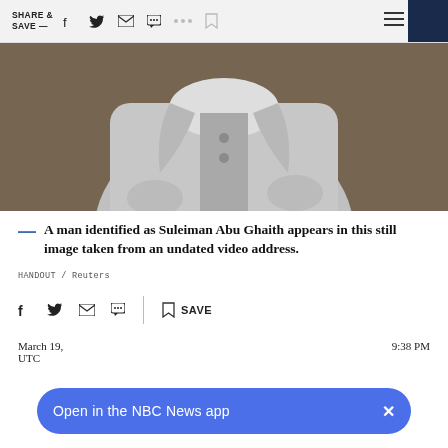SHARE & SAVE —
[Figure (photo): A man identified as Suleiman Abu Ghaith, shown from the chest area upward in what appears to be a still image from a video. He is wearing white or light-colored clothing. The image is black and white and grainy.]
— A man identified as Suleiman Abu Ghaith appears in this still image taken from an undated video address.
HANDOUT / Reuters
March 19, 9:38 PM UTC